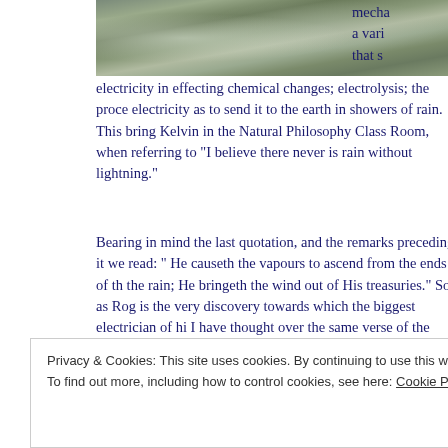[Figure (photo): Mountain/rocky landscape with snow and mist, partial view at the top of the page]
mecha... a vari... that s...
electricity in effecting chemical changes; electrolysis; the proce... electricity as to send it to the earth in showers of rain. This bring... Kelvin in the Natural Philosophy Class Room, when referring to... "I believe there never is rain without lightning."
Bearing in mind the last quotation, and the remarks preceding it... we read: " He causeth the vapours to ascend from the ends of th... the rain; He bringeth the wind out of His treasuries." So, as Rog... is the very discovery towards which the biggest electrician of hi... I have thought over the same verse of the Psalm, and have come... should strengthen our belief in the Bible and its Divine source, a...
Privacy & Cookies: This site uses cookies. By continuing to use this website, you agree to their use.
To find out more, including how to control cookies, see here: Cookie Policy
Close and accept